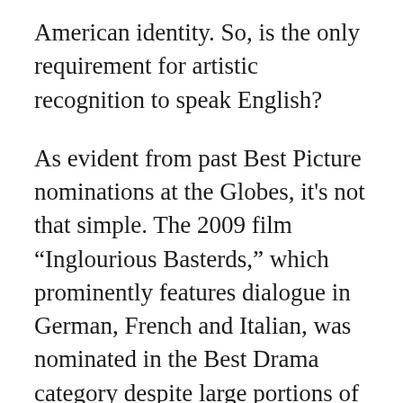American identity. So, is the only requirement for artistic recognition to speak English?
As evident from past Best Picture nominations at the Globes, it's not that simple. The 2009 film “Inglourious Basterds,” which prominently features dialogue in German, French and Italian, was nominated in the Best Drama category despite large portions of its story transpiring in a language other than English. Many of its stars, including Christoph Waltz, Mélanie Laurent and Diane Kruger, are not American, calling into question why “Inglourious Basterds” and “Minari” have faced such different treatment despite their